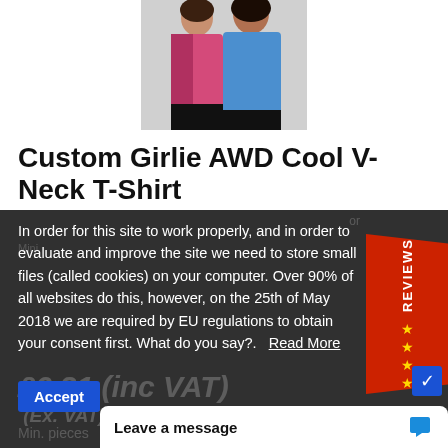[Figure (photo): Two women standing side by side, one wearing a pink top and one wearing a blue V-neck t-shirt, product photo for Custom Girlie AWD Cool V-Neck T-Shirt]
Custom Girlie AWD Cool V-Neck T-Shirt
In order for this site to work properly, and in order to evaluate and improve the site we need to store small files (called cookies) on your computer. Over 90% of all websites do this, however, on the 25th of May 2018 we are required by EU regulations to obtain your consent first. What do you say?.  Read More
Accept
Leave a message